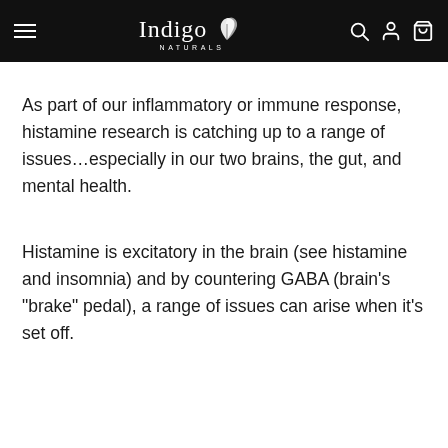Indigo Naturals
As part of our inflammatory or immune response, histamine research is catching up to a range of issues…especially in our two brains, the gut, and mental health.
Histamine is excitatory in the brain (see histamine and insomnia) and by countering GABA (brain's "brake" pedal), a range of issues can arise when it's set off.